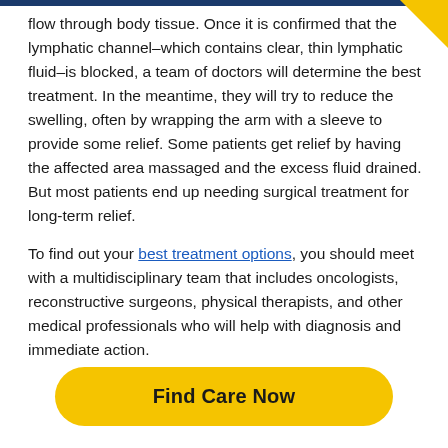flow through body tissue. Once it is confirmed that the lymphatic channel–which contains clear, thin lymphatic fluid–is blocked, a team of doctors will determine the best treatment. In the meantime, they will try to reduce the swelling, often by wrapping the arm with a sleeve to provide some relief. Some patients get relief by having the affected area massaged and the excess fluid drained. But most patients end up needing surgical treatment for long-term relief.
To find out your best treatment options, you should meet with a multidisciplinary team that includes oncologists, reconstructive surgeons, physical therapists, and other medical professionals who will help with diagnosis and immediate action.
Find Care Now